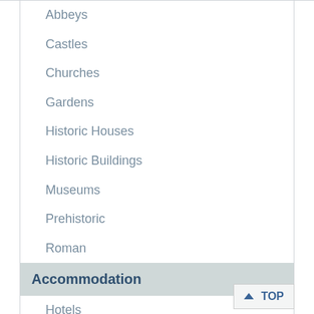Abbeys
Castles
Churches
Gardens
Historic Houses
Historic Buildings
Museums
Prehistoric
Roman
Accommodation
Hotels
Edinburgh